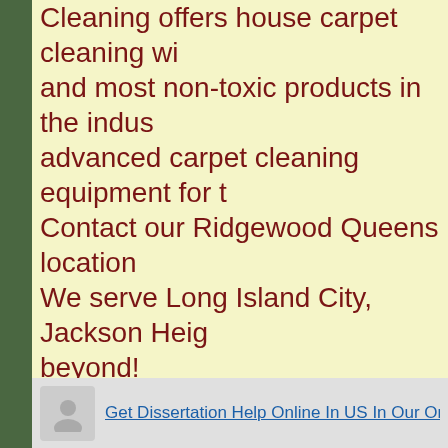Cleaning offers house carpet cleaning with and most non-toxic products in the industry, advanced carpet cleaning equipment for the job. Contact our Ridgewood Queens location. We serve Long Island City, Jackson Heights and beyond!
Keywords:  professional carpet shampoo, out of carpet, Moldy carpet, Advance carpet house carpet cleaning
Get Dissertation Help Online In US In Our Online A...